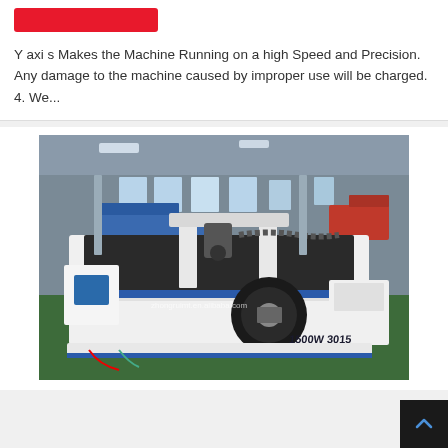Y axi s Makes the Machine Running on a high Speed and Precision. Any damage to the machine caused by improper use will be charged. 4. We...
[Figure (photo): Industrial fiber laser cutting machine (1500W 3015) on factory floor, white machine body with blue accents, rotary attachment visible, watermark: zhongruimt.en.alibaba.com]